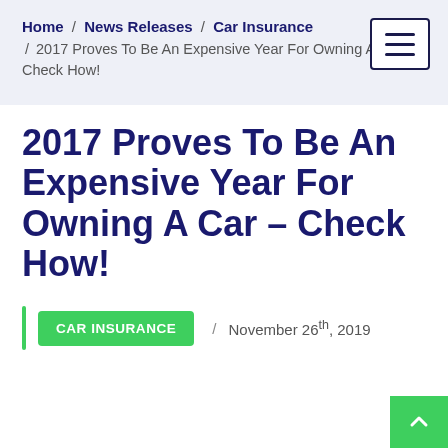Home / News Releases / Car Insurance / 2017 Proves To Be An Expensive Year For Owning A Car – Check How!
2017 Proves To Be An Expensive Year For Owning A Car – Check How!
CAR INSURANCE / November 26th, 2019